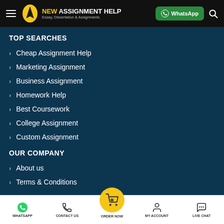NEW ASSIGNMENT HELP — Essay, Dissertation & Assignments | WhatsApp
TOP SEARCHES
Cheap Assignment Help
Marketing Assignment
Business Assignment
Homework Help
Best Coursework
College Assignment
Custom Assignment
OUR COMPANY
About us
Terms & Conditions
WHATSAPP | CONTACT US | ORDER NOW | MY ACCOUNT | LIVE CHAT